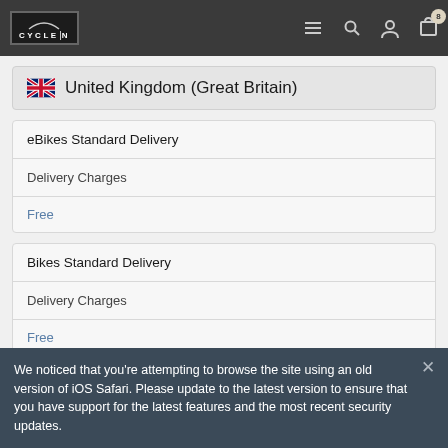CYCLE|N navigation header with menu, search, account, cart icons
🇬🇧 United Kingdom (Great Britain)
eBikes Standard Delivery
Delivery Charges
Free
Bikes Standard Delivery
Delivery Charges
Free
We noticed that you're attempting to browse the site using an old version of iOS Safari. Please update to the latest version to ensure that you have support for the latest features and the most recent security updates.